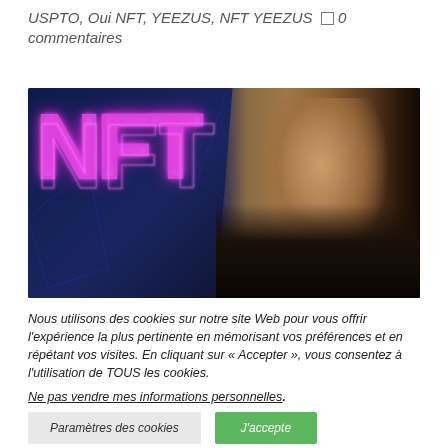USPTO, Oui NFT, YEEZUS, NFT YEEZUS  □ 0 commentaires
[Figure (photo): Dark blue digital background with large glowing pink/magenta NFT letters on the left and a man's face on the right side.]
Nous utilisons des cookies sur notre site Web pour vous offrir l'expérience la plus pertinente en mémorisant vos préférences et en répétant vos visites. En cliquant sur « Accepter », vous consentez à l'utilisation de TOUS les cookies.
Ne pas vendre mes informations personnelles.
Paramètres des cookies   J'accepte